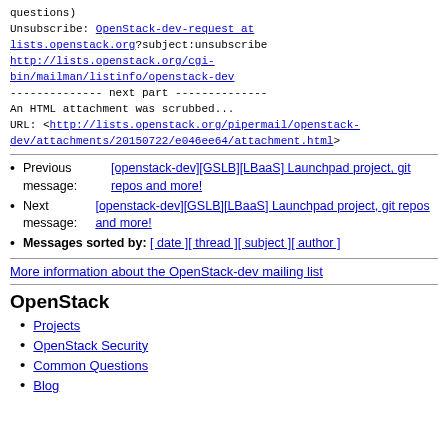questions)
Unsubscribe: OpenStack-dev-request at lists.openstack.org?subject:unsubscribe
http://lists.openstack.org/cgi-bin/mailman/listinfo/openstack-dev
-------------- next part --------------
An HTML attachment was scrubbed...
URL: <http://lists.openstack.org/pipermail/openstack-dev/attachments/20150722/e046ee64/attachment.html>
Previous message: [openstack-dev][GSLB][LBaaS] Launchpad project, git repos and more!
Next message: [openstack-dev][GSLB][LBaaS] Launchpad project, git repos and more!
Messages sorted by: [ date ] [ thread ] [ subject ] [ author ]
More information about the OpenStack-dev mailing list
OpenStack
Projects
OpenStack Security
Common Questions
Blog